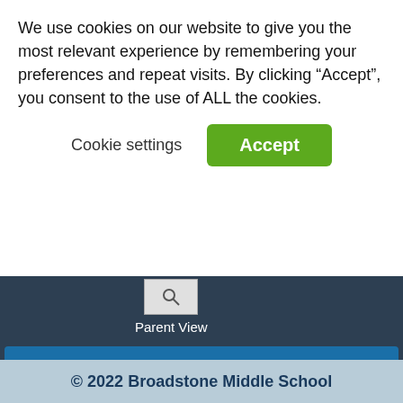We use cookies on our website to give you the most relevant experience by remembering your preferences and repeat visits. By clicking “Accept”, you consent to the use of ALL the cookies.
Cookie settings
Accept
[Figure (screenshot): Parent View icon with magnifying glass graphic and label 'Parent View' on dark blue background]
Change Cookie preferences
[Figure (logo): Operation Encompass logo with compass rose icon on dark blue background]
© 2022 Broadstone Middle School